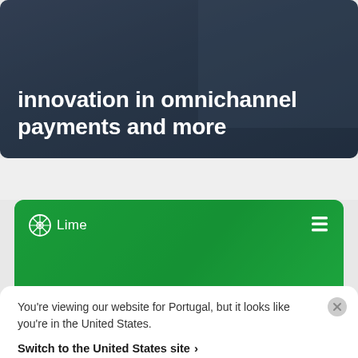innovation in omnichannel payments and more
[Figure (photo): Dark blue/grey toned banner image with a person at a payment terminal, overlaid with text about innovation in omnichannel payments]
[Figure (photo): Green toned Lime branded card showing a person on a bicycle, with Lime logo top left and a menu icon top right]
Lime improves accuracy and speed of financial
You're viewing our website for Portugal, but it looks like you're in the United States.
Switch to the United States site >